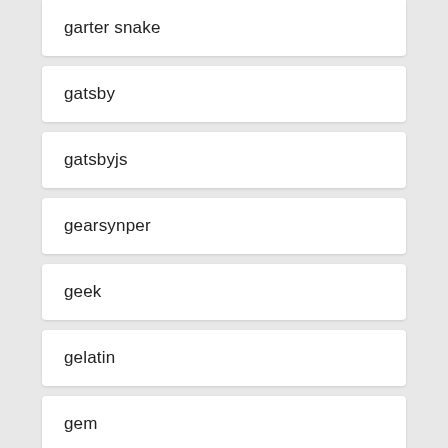garter snake
gatsby
gatsbyjs
gearsynper
geek
gelatin
gem
gems